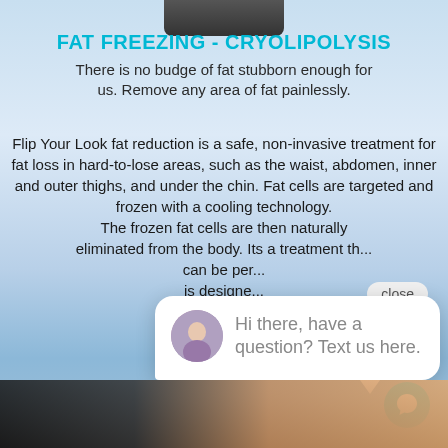FAT FREEZING - CRYOLIPOLYSIS
There is no budge of fat stubborn enough for us. Remove any area of fat painlessly.
Flip Your Look fat reduction is a safe, non-invasive treatment for fat loss in hard-to-lose areas, such as the waist, abdomen, inner and outer thighs, and under the chin. Fat cells are targeted and frozen with a cooling technology. The frozen fat cells are then naturally eliminated from the body. Its a treatment th... can be per... is designe... This pr...
[Figure (screenshot): Chat widget overlay with close button and avatar showing message: Hi there, have a question? Text us here.]
[Figure (photo): Bottom portion showing person in black outfit, lower body visible]